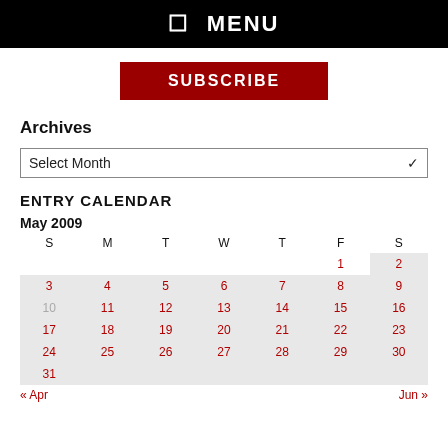☰ MENU
SUBSCRIBE
Archives
Select Month
ENTRY CALENDAR
May 2009
| S | M | T | W | T | F | S |
| --- | --- | --- | --- | --- | --- | --- |
|  |  |  |  |  | 1 | 2 |
| 3 | 4 | 5 | 6 | 7 | 8 | 9 |
| 10 | 11 | 12 | 13 | 14 | 15 | 16 |
| 17 | 18 | 19 | 20 | 21 | 22 | 23 |
| 24 | 25 | 26 | 27 | 28 | 29 | 30 |
| 31 |  |  |  |  |  |  |
« Apr    Jun »